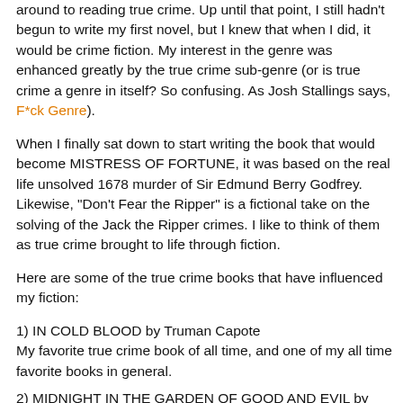around to reading true crime. Up until that point, I still hadn't begun to write my first novel, but I knew that when I did, it would be crime fiction. My interest in the genre was enhanced greatly by the true crime sub-genre (or is true crime a genre in itself? So confusing. As Josh Stallings says, F*ck Genre).
When I finally sat down to start writing the book that would become MISTRESS OF FORTUNE, it was based on the real life unsolved 1678 murder of Sir Edmund Berry Godfrey. Likewise, "Don't Fear the Ripper" is a fictional take on the solving of the Jack the Ripper crimes. I like to think of them as true crime brought to life through fiction.
Here are some of the true crime books that have influenced my fiction:
1) IN COLD BLOOD by Truman Capote
My favorite true crime book of all time, and one of my all time favorite books in general.
2) MIDNIGHT IN THE GARDEN OF GOOD AND EVIL by John Berendt